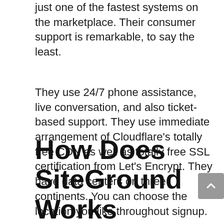just one of the fastest systems on the marketplace. Their consumer support is remarkable, to say the least.
They use 24/7 phone assistance, live conversation, and also ticket-based support. They use immediate arrangement of Cloudflare's totally free CDN as well as totally free SSL certification from Let's Encrypt. They have data centers on three continents. You can choose the location you like throughout signup.
How Does SiteGround Works